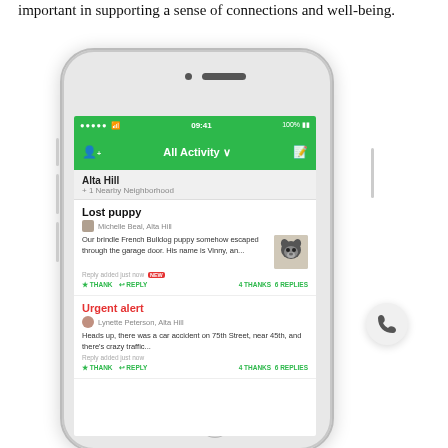important in supporting a sense of connections and well-being.
[Figure (screenshot): A smartphone screenshot of a neighborhood social app showing 'All Activity' feed with posts including 'Lost puppy' by Michelle Beal, Alta Hill with a photo of a French Bulldog, and 'Urgent alert' by Lynette Peterson, Alta Hill about a car accident on 75th Street.]